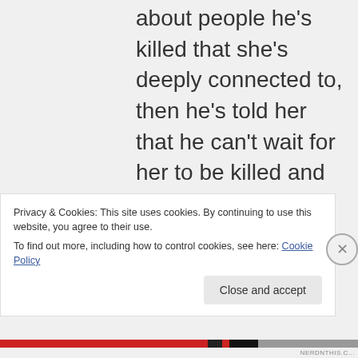about people he's killed that she's deeply connected to, then he's told her that he can't wait for her to be killed and hopes he gets to do it, then he's tried to bite her. Pushing him over and throwing money at him hardly
Privacy & Cookies: This site uses cookies. By continuing to use this website, you agree to their use.
To find out more, including how to control cookies, see here: Cookie Policy